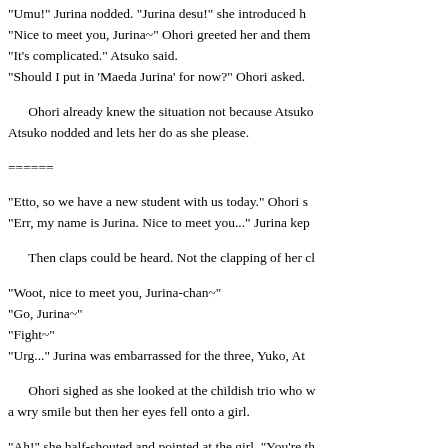"Umu!" Jurina nodded. "Jurina desu!" she introduced h...
"Nice to meet you, Jurina~" Ohori greeted her and the...
"It's complicated." Atsuko said.
"Should I put in 'Maeda Jurina' for now?" Ohori asked.
Ohori already knew the situation not because Atsuko...
Atsuko nodded and lets her do as she please.
======
"Etto, so we have a new student with us today." Ohori s...
"Err, my name is Jurina. Nice to meet you..." Jurina kep...
Then claps could be heard. Not the clapping of her cl...
"Woot, nice to meet you, Jurina-chan~"
"Go, Jurina~"
"Fight~"
"Urg..." Jurina was embarrassed for the three, Yuko, At...
Ohori sighed as she looked at the childish trio who w...
a wry smile but then her eyes fell onto a girl.
"Ah!" she half-shouted and pointed at the girl. "You're th...
"Yeah, so we're in the same class..." Mayu said and lo...
Jurina thought of something and hugged the girl she ju...
"W- What are you doing?!" Mayu blushed lightly as she...
"Whoa! Her expression changed!" Jurina widely grinne...
"And what of it?!" Mayu, still red to her ears, glared at J...